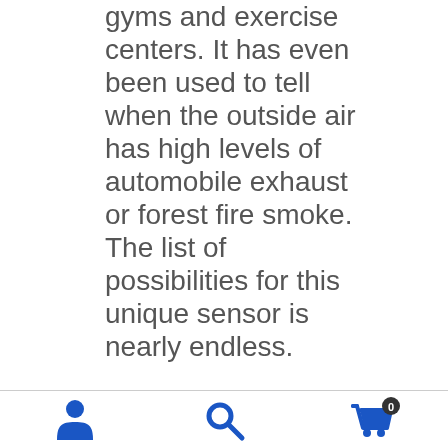gyms and exercise centers. It has even been used to tell when the outside air has high levels of automobile exhaust or forest fire smoke. The list of possibilities for this unique sensor is nearly endless.
[Figure (infographic): Bottom navigation bar with three icons: person/user icon, search magnifying glass icon, and shopping cart icon with a badge showing '0']